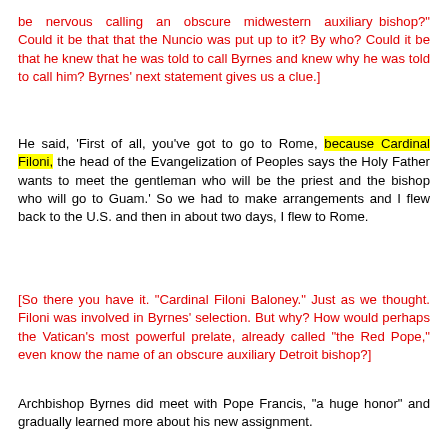be nervous calling an obscure midwestern auxiliary bishop?" Could it be that that the Nuncio was put up to it? By who? Could it be that he knew that he was told to call Byrnes and knew why he was told to call him? Byrnes' next statement gives us a clue.]
He said, ‘First of all, you’ve got to go to Rome, because Cardinal Filoni, the head of the Evangelization of Peoples says the Holy Father wants to meet the gentleman who will be the priest and the bishop who will go to Guam.’ So we had to make arrangements and I flew back to the U.S. and then in about two days, I flew to Rome.
[So there you have it. "Cardinal Filoni Baloney." Just as we thought. Filoni was involved in Byrnes' selection. But why? How would perhaps the Vatican's most powerful prelate, already called "the Red Pope," even know the name of an obscure auxiliary Detroit bishop?]
Archbishop Byrnes did meet with Pope Francis, “a huge honor” and gradually learned more about his new assignment.